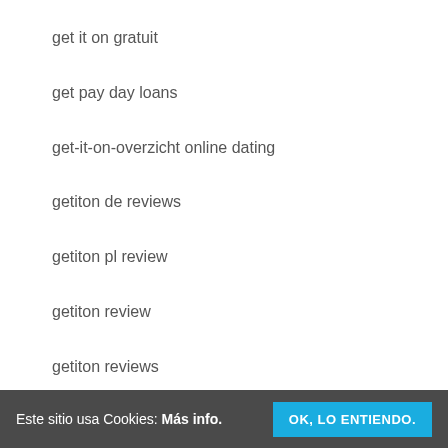get it on gratuit
get pay day loans
get-it-on-overzicht online dating
getiton de reviews
getiton pl review
getiton review
getiton reviews
Este sitio usa Cookies: Más info. OK, LO ENTIENDO.